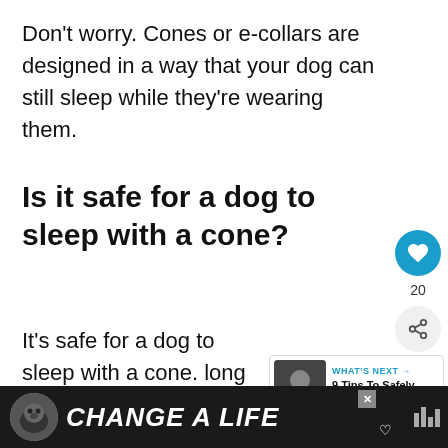Don't worry. Cones or e-collars are designed in a way that your dog can still sleep while they're wearing them.
Is it safe for a dog to sleep with a cone?
It's safe for a dog to sleep with a cone. long as it fits them well, it's medical-grade, and it's comfortable arou neck.
[Figure (infographic): Social media sidebar with heart/like button (blue circle, count 20) and share button]
[Figure (infographic): What's Next widget showing thumbnail and title '9 Tips To Safely Lock...']
[Figure (infographic): Bottom advertisement bar with dog image and text 'CHANGE A LIFE' in white italic on dark background]